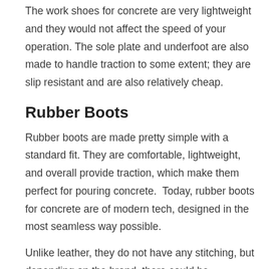The work shoes for concrete are very lightweight and they would not affect the speed of your operation. The sole plate and underfoot are also made to handle traction to some extent; they are slip resistant and are also relatively cheap.
Rubber Boots
Rubber boots are made pretty simple with a standard fit. They are comfortable, lightweight, and overall provide traction, which make them perfect for pouring concrete.  Today, rubber boots for concrete are of modern tech, designed in the most seamless way possible.
Unlike leather, they do not have any stitching, but depending on the brand, there could be noticeable texturing like internal support to add structure in the upper part of the boot without taking away from the softness and flexibility.
This feature is also seen in the internal fit mesh liner that runs from